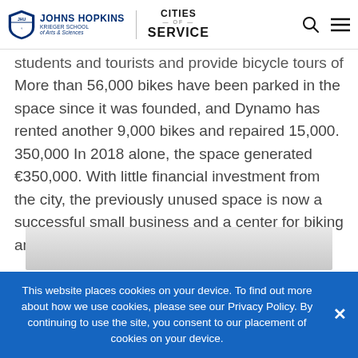Johns Hopkins | Krieger School of Arts & Sciences | Cities of Service
students and tourists and provide bicycle tours of the city. More than 56,000 bikes have been parked in the space since it was founded, and Dynamo has rented another 9,000 bikes and repaired 15,000. 350,000 In 2018 alone, the space generated €350,000. With little financial investment from the city, the previously unused space is now a successful small business and a center for biking and community in the heart of Bologna.
[Figure (photo): Interior photo of a space, partially visible at the bottom of the page]
This website places cookies on your device. To find out more about how we use cookies, please see our Privacy Policy. By continuing to use the site, you consent to our placement of cookies on your device.